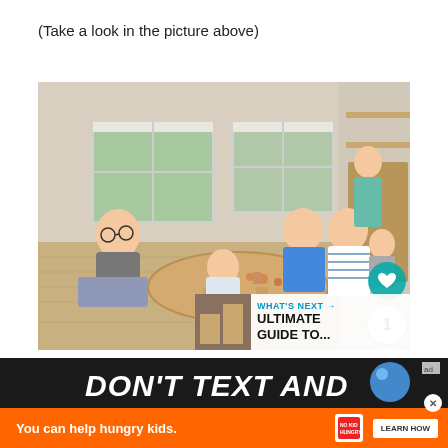(Take a look in the picture above)
[Figure (photo): Indoor play area in Japan with families sitting on a wooden floor around a round wooden table. Children playing with wooden toys, a woman in a teal dress standing near windows, bookshelves and decorative items visible in the background. Social media UI overlays: heart button, share button, count '1'.]
[Figure (screenshot): 'What's Next' overlay panel showing a thumbnail and text 'ULTIMATE GUIDE TO...']
[Figure (screenshot): Advertisement banner: 'DON'T TEXT AND...' with a blue ball graphic and 'ad' label]
[Figure (screenshot): Orange ad bar: 'You can help hungry kids.' with No Kid Hungry logo and 'LEARN HOW' button]